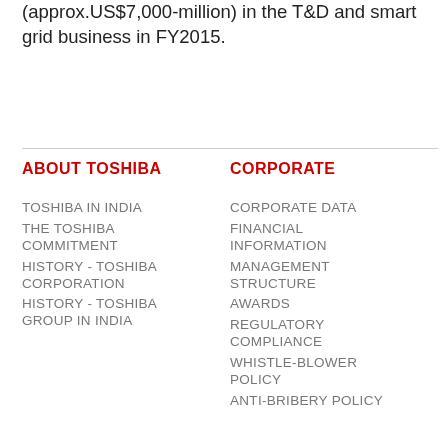(approx.US$7,000-million) in the T&D and smart grid business in FY2015.
ABOUT TOSHIBA
TOSHIBA IN INDIA
THE TOSHIBA COMMITMENT
HISTORY - TOSHIBA CORPORATION
HISTORY - TOSHIBA GROUP IN INDIA
CORPORATE
CORPORATE DATA
FINANCIAL INFORMATION
MANAGEMENT STRUCTURE
AWARDS
REGULATORY COMPLIANCE
WHISTLE-BLOWER POLICY
ANTI-BRIBERY POLICY